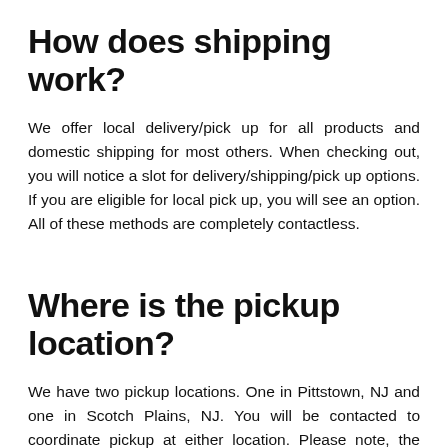How does shipping work?
We offer local delivery/pick up for all products and domestic shipping for most others. When checking out, you will notice a slot for delivery/shipping/pick up options. If you are eligible for local pick up, you will see an option. All of these methods are completely contactless.
Where is the pickup location?
We have two pickup locations. One in Pittstown, NJ and one in Scotch Plains, NJ. You will be contacted to coordinate pickup at either location. Please note, the default location in our system is